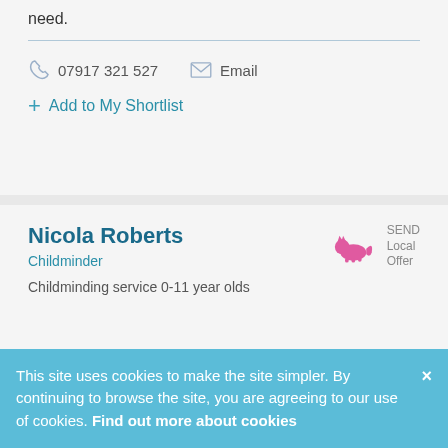need.
07917 321 527   Email
+ Add to My Shortlist
[Figure (logo): SEND Local Offer badge with pink cat icon and text 'SEND Local Offer']
Nicola Roberts
Childminder
Childminding service 0-11 year olds
This site uses cookies to make the site simpler. By continuing to browse the site, you are agreeing to our use of cookies. Find out more about cookies